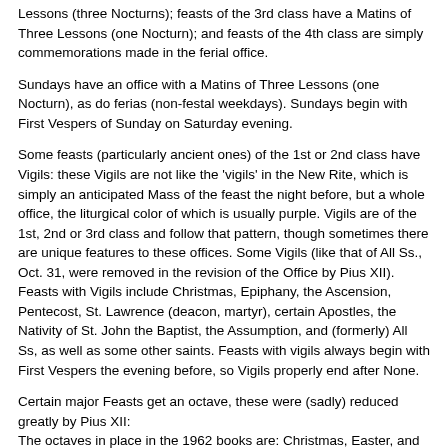Lessons (three Nocturns); feasts of the 3rd class have a Matins of Three Lessons (one Nocturn); and feasts of the 4th class are simply commemorations made in the ferial office.
Sundays have an office with a Matins of Three Lessons (one Nocturn), as do ferias (non-festal weekdays). Sundays begin with First Vespers of Sunday on Saturday evening.
Some feasts (particularly ancient ones) of the 1st or 2nd class have Vigils: these Vigils are not like the 'vigils' in the New Rite, which is simply an anticipated Mass of the feast the night before, but a whole office, the liturgical color of which is usually purple. Vigils are of the 1st, 2nd or 3rd class and follow that pattern, though sometimes there are unique features to these offices. Some Vigils (like that of All Ss., Oct. 31, were removed in the revision of the Office by Pius XII). Feasts with Vigils include Christmas, Epiphany, the Ascension, Pentecost, St. Lawrence (deacon, martyr), certain Apostles, the Nativity of St. John the Baptist, the Assumption, and (formerly) All Ss, as well as some other saints. Feasts with vigils always begin with First Vespers the evening before, so Vigils properly end after None.
Certain major Feasts get an octave, these were (sadly) reduced greatly by Pius XII:
The octaves in place in the 1962 books are: Christmas, Easter, and Pentecost. Before Pius XII's reform, additional Octaves included: St